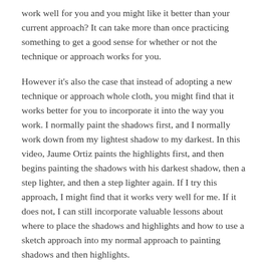work well for you and you might like it better than your current approach? It can take more than once practicing something to get a good sense for whether or not the technique or approach works for you.
However it's also the case that instead of adopting a new technique or approach whole cloth, you might find that it works better for you to incorporate it into the way you work. I normally paint the shadows first, and I normally work down from my lightest shadow to my darkest. In this video, Jaume Ortiz paints the highlights first, and then begins painting the shadows with his darkest shadow, then a step lighter, and then a step lighter again. If I try this approach, I might find that it works very well for me. If it does not, I can still incorporate valuable lessons about where to place the shadows and highlights and how to use a sketch approach into my normal approach to painting shadows and then highlights.